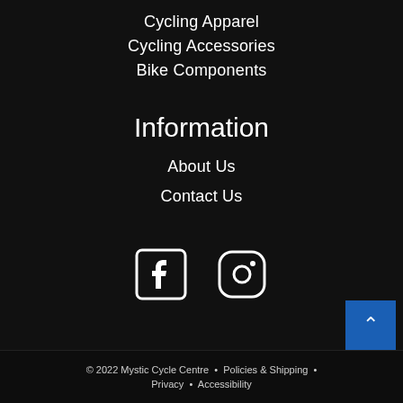Cycling Apparel
Cycling Accessories
Bike Components
Information
About Us
Contact Us
[Figure (logo): Facebook and Instagram social media icons in white outline on dark background]
© 2022 Mystic Cycle Centre  •  Policies & Shipping  •  Privacy  •  Accessibility